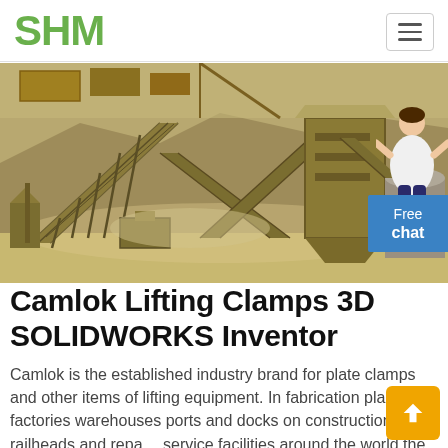SHM
[Figure (photo): Industrial aggregate plant / crushing and conveyor equipment at a mining or quarry site, showing large yellow conveyors, silos, and machinery against a rocky hillside background.]
Camlok Lifting Clamps 3D SOLIDWORKS Inventor
Camlok is the established industry brand for plate clamps and other items of lifting equipment. In fabrication plants factories warehouses ports and docks on construction sites railheads and repair service facilities around the world the Camlok plate clamp and related products are the number one